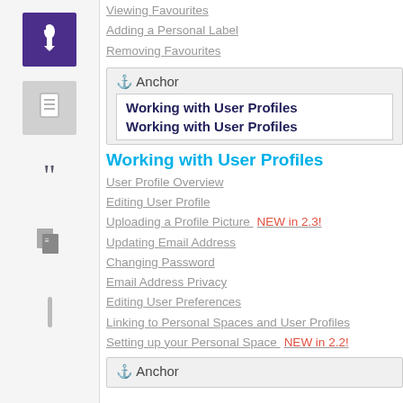Viewing Favourites
Adding a Personal Label
Removing Favourites
[Figure (screenshot): Anchor box with 'Working with User Profiles' heading repeated twice in bold dark blue inside a white box within a gray bordered container]
Working with User Profiles
User Profile Overview
Editing User Profile
Uploading a Profile Picture  NEW in 2.3!
Updating Email Address
Changing Password
Email Address Privacy
Editing User Preferences
Linking to Personal Spaces and User Profiles
Setting up your Personal Space  NEW in 2.2!
[Figure (screenshot): Partial anchor box visible at bottom of page]